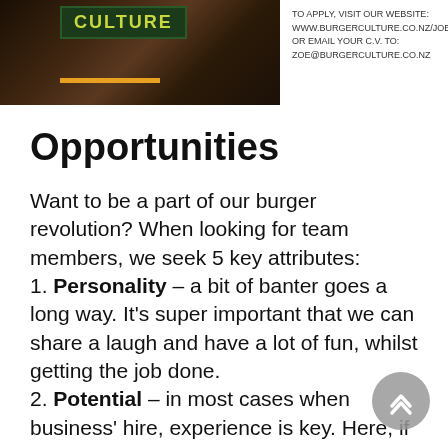[Figure (photo): Left: photo of a person at Burger Culture restaurant with a green Culture sign banner and an orange bar underneath. Right: text about applying for jobs. Far right: brown paper bag.]
TO APPLY, VISIT OUR WEBSITE: WWW.BURGERCULTURE.CO.NZ/JOBS OR EMAIL YOUR C.V. TO: ZOE@BURGERCULTURE.CO.NZ
Opportunities
Want to be a part of our burger revolution? When looking for team members, we seek 5 key attributes: 1. Personality – a bit of banter goes a long way. It's super important that we can share a laugh and have a lot of fun, whilst getting the job done. 2. Potential – in most cases when business' hire, experience is key. Here, if you've got the right attitude, willingness, and ability to